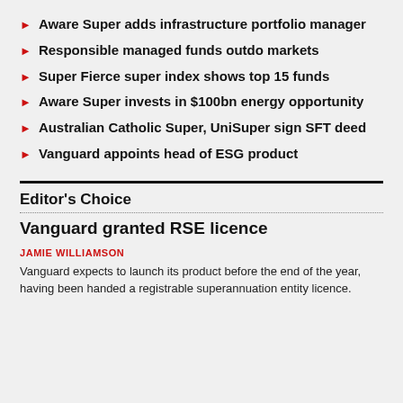Aware Super adds infrastructure portfolio manager
Responsible managed funds outdo markets
Super Fierce super index shows top 15 funds
Aware Super invests in $100bn energy opportunity
Australian Catholic Super, UniSuper sign SFT deed
Vanguard appoints head of ESG product
Editor's Choice
Vanguard granted RSE licence
JAMIE WILLIAMSON
Vanguard expects to launch its product before the end of the year, having been handed a registrable superannuation entity licence.